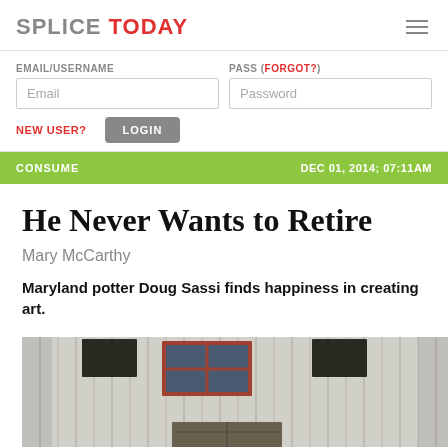SPLICE TODAY
EMAIL/USERNAME | PASS (FORGOT?)
NEW USER? | LOGIN
CONSUME | DEC 01, 2014; 07:11AM
He Never Wants to Retire
Mary McCarthy
Maryland potter Doug Sassi finds happiness in creating art.
[Figure (photo): Weathered wooden barn exterior with a red-framed window visible, showing old white/grey painted wood siding and a barn door at the bottom.]